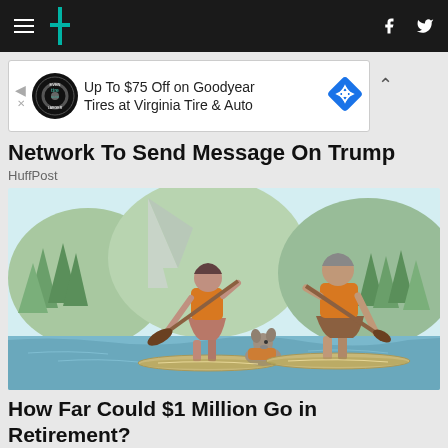HuffPost navigation bar with hamburger menu, logo, Facebook and Twitter icons
[Figure (screenshot): Advertisement banner: Up To $75 Off on Goodyear Tires at Virginia Tire & Auto with tire logo and blue diamond navigation icon]
Network To Send Message On Trump
HuffPost
[Figure (illustration): Illustration of two adults and a dog paddleboarding on a lake with trees and mountains in the background, all wearing orange life vests]
How Far Could $1 Million Go in Retirement?
Fisher Investments